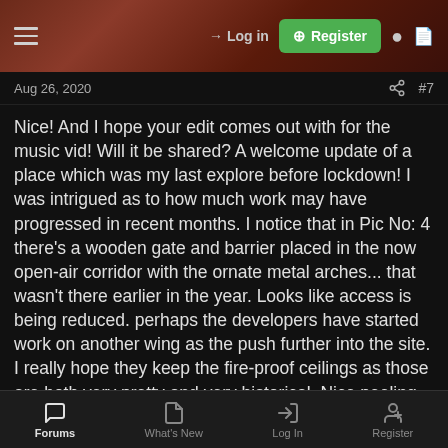Log in | Register
Aug 26, 2020   #7
Nice! And I hope your edit comes out with for the music vid! Will it be shared? A welcome update of a place which was my last explore before lockdown! I was intrigued as to how much work may have progressed in recent months. I notice that in Pic No: 4 there's a wooden gate and barrier placed in the now open-air corridor with the ornate metal arches... that wasn't there earlier in the year. Looks like access is being reduced. perhaps the developers have started work on another wing as the push further into the site. I really hope they keep the fire-proof ceilings as those are both very pretty and very historical. Nice peeling shots! There's so much peeling goodness in there isn't there! The wallpapers are creepy though. Did you see the yellowy flower one and also the paper with the Oriental print on it?
Forums | What's New | Log In | Register